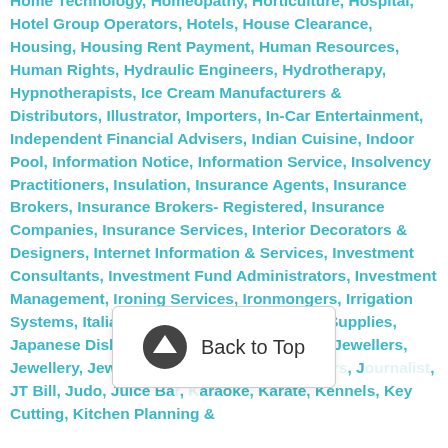Home Technology, Homeopathy, Horticulture, Hospital, Hotel Group Operators, Hotels, House Clearance, Housing, Housing Rent Payment, Human Resources, Human Rights, Hydraulic Engineers, Hydrotherapy, Hypnotherapists, Ice Cream Manufacturers & Distributors, Illustrator, Importers, In-Car Entertainment, Independent Financial Advisers, Indian Cuisine, Indoor Pool, Information Notice, Information Service, Insolvency Practitioners, Insulation, Insurance Agents, Insurance Brokers, Insurance Brokers- Registered, Insurance Companies, Insurance Services, Interior Decorators & Designers, Internet Information & Services, Investment Consultants, Investment Fund Administrators, Investment Management, Ironing Services, Ironmongers, Irrigation Systems, Italian Dishes, Jacuzzi, Janitorial Supplies, Japanese Dishes, JE Bill, Jersey Water Bill, Jewellers, Jewellery, Jewellery Repair, Joiners & Joiners, Journalist, JT Bill, Judo, Juice Bar, Karaoke, Karate, Kennels, Key Cutting, Kitchen Planning &
Back to Top